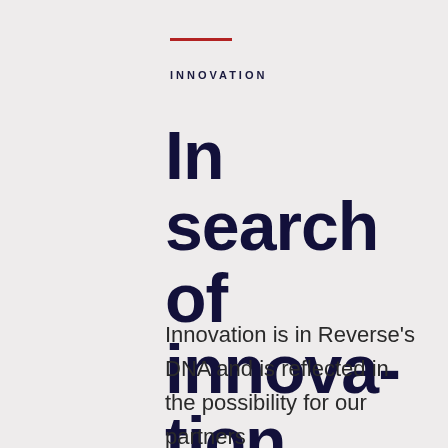INNOVATION
In search of innovation...
Innovation is in Reverse's DNA and is reflected in the possibility for our partners